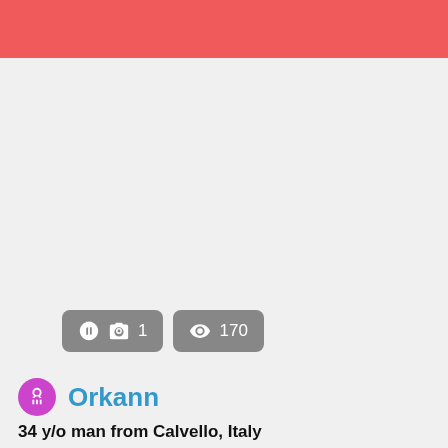[Figure (photo): Red banner header at top of profile page]
[Figure (photo): Light gray profile photo area with camera badge showing 1 photo and eye badge showing 170 views]
1
170
Orkann
34 y/o man from Calvello, Italy
seeking a woman from 28 to 70 years old